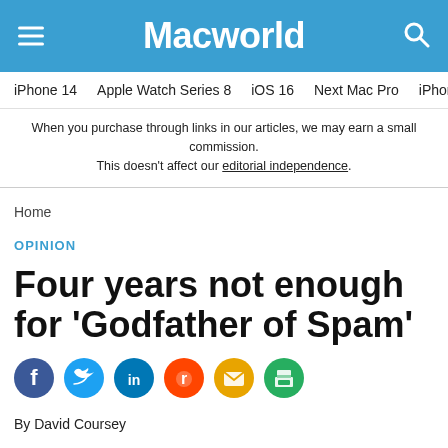Macworld
iPhone 14  Apple Watch Series 8  iOS 16  Next Mac Pro  iPhone d
When you purchase through links in our articles, we may earn a small commission. This doesn't affect our editorial independence.
Home
OPINION
Four years not enough for ‘Godfather of Spam’
[Figure (other): Social sharing icons: Facebook, Twitter, LinkedIn, Reddit, Email, Print]
By David Coursey